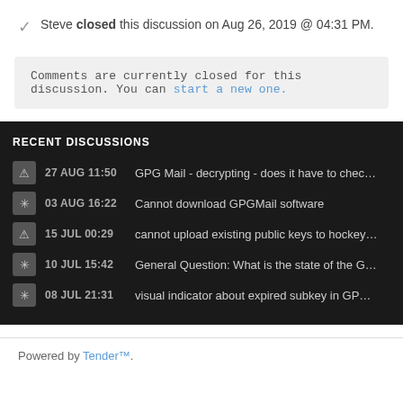Steve closed this discussion on Aug 26, 2019 @ 04:31 PM.
Comments are currently closed for this discussion. You can start a new one.
RECENT DISCUSSIONS
27 AUG 11:50  GPG Mail - decrypting - does it have to check all ...
03 AUG 16:22  Cannot download GPGMail software
15 JUL 00:29  cannot upload existing public keys to hockeypuc...
10 JUL 15:42  General Question: What is the state of the GPG ...
08 JUL 21:31  visual indicator about expired subkey in GPG Ke...
Powered by Tender™.